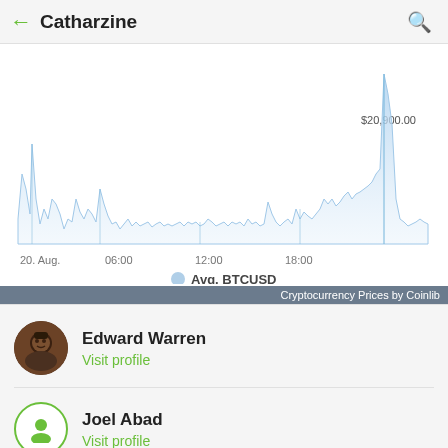Catharzine
[Figure (area-chart): BTC/USD area chart for August 20, showing price around $20,900 with spikes throughout the day]
Cryptocurrency Prices by Coinlib
Edward Warren
Visit profile
Joel Abad
Visit profile